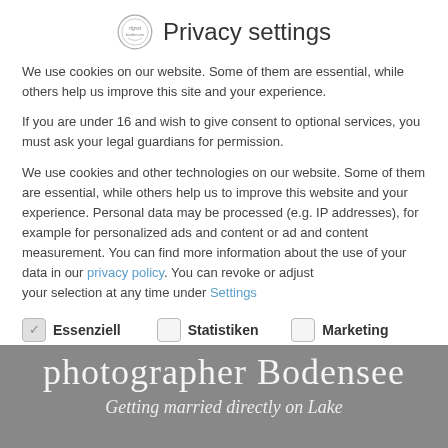Privacy settings
We use cookies on our website. Some of them are essential, while others help us improve this site and your experience.
If you are under 16 and wish to give consent to optional services, you must ask your legal guardians for permission.
We use cookies and other technologies on our website. Some of them are essential, while others help us to improve this website and your experience. Personal data may be processed (e.g. IP addresses), for example for personalized ads and content or ad and content measurement. You can find more information about the use of your data in our privacy policy. You can revoke or adjust your selection at any time under Settings
Essenziell
Statistiken
Marketing
Externe Medien
photographer Bodensee
Getting married directly on Lake